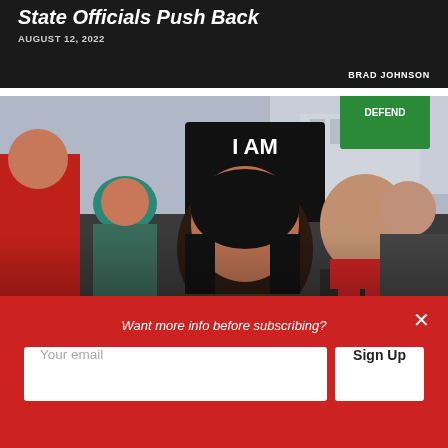State Officials Push Back
AUGUST 12, 2022
BRAD JOHNSON
[Figure (photo): Crowd of protesters at a pro-life march, holding signs including 'I AM THE PRO-LIFE GENERATION'. A woman with sunglasses is prominent in the foreground.]
Politicians, Activists to Pursue More Lawsuit-Enforced Abortion Restrictions in Coming Year
AUGUST 1, 2022
Want more info before subscribing?
Your email
Sign Up